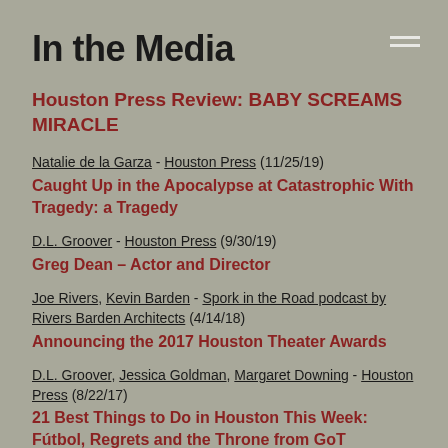In the Media
Houston Press Review: BABY SCREAMS MIRACLE
Natalie de la Garza - Houston Press (11/25/19) — Caught Up in the Apocalypse at Catastrophic With Tragedy: a Tragedy
D.L. Groover - Houston Press (9/30/19) — Greg Dean – Actor and Director
Joe Rivers, Kevin Barden - Spork in the Road podcast by Rivers Barden Architects (4/14/18) — Announcing the 2017 Houston Theater Awards
D.L. Groover, Jessica Goldman, Margaret Downing - Houston Press (8/22/17) — 21 Best Things to Do in Houston This Week: Fútbol, Regrets and the Throne from GoT